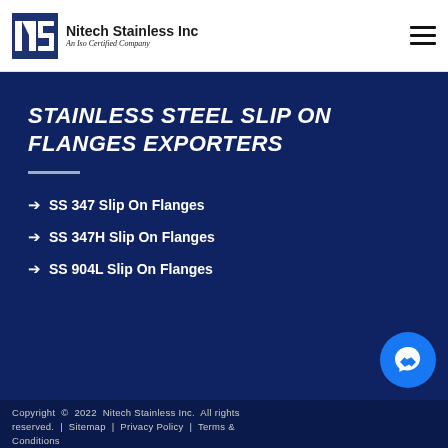Nitech Stainless Inc — An Iso Certified Company
STAINLESS STEEL SLIP ON FLANGES EXPORTERS
SS 347 Slip On Flanges
SS 347H Slip On Flanges
SS 904L Slip On Flanges
Copyright © 2022 Nitech Stainless Inc. All rights reserved. | Sitemap | Privacy Policy | Terms & Conditions